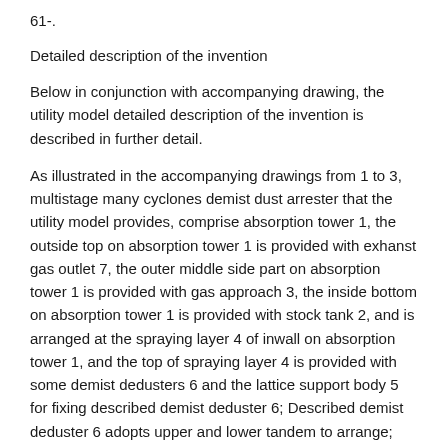61-.
Detailed description of the invention
Below in conjunction with accompanying drawing, the utility model detailed description of the invention is described in further detail.
As illustrated in the accompanying drawings from 1 to 3, multistage many cyclones demist dust arrester that the utility model provides, comprise absorption tower 1, the outside top on absorption tower 1 is provided with exhanst gas outlet 7, the outer middle side part on absorption tower 1 is provided with gas approach 3, the inside bottom on absorption tower 1 is provided with stock tank 2, and is arranged at the spraying layer 4 of inwall on absorption tower 1, and the top of spraying layer 4 is provided with some demist dedusters 6 and the lattice support body 5 for fixing described demist deduster 6; Described demist deduster 6 adopts upper and lower tandem to arrange; Described demist deduster 6 comprises interior cyclone cylinder 61 and is arranged at the interior cyclone blade 62 of interior cyclone cylinder 61 inside, described interior cyclone blade 62 is extended out to the inwall of interior